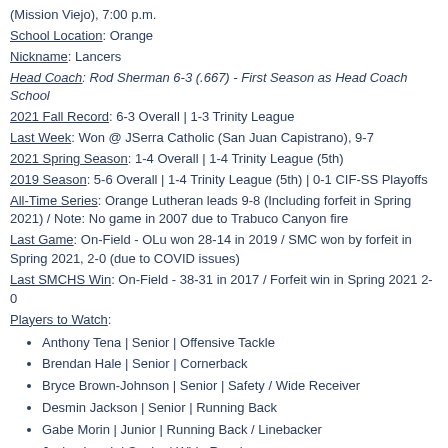(Mission Viejo), 7:00 p.m.
School Location: Orange
Nickname: Lancers
Head Coach: Rod Sherman 6-3 (.667) - First Season as Head Coach School
2021 Fall Record: 6-3 Overall | 1-3 Trinity League
Last Week: Won @ JSerra Catholic (San Juan Capistrano), 9-7
2021 Spring Season: 1-4 Overall | 1-4 Trinity League (5th)
2019 Season: 5-6 Overall | 1-4 Trinity League (5th) | 0-1 CIF-SS Playoffs
All-Time Series: Orange Lutheran leads 9-8 (Including forfeit in Spring 2021) / Note: No game in 2007 due to Trabuco Canyon fire
Last Game: On-Field - OLu won 28-14 in 2019 / SMC won by forfeit in Spring 2021, 2-0 (due to COVID issues)
Last SMCHS Win: On-Field - 38-31 in 2017 / Forfeit win in Spring 2021 2-0
Players to Watch:
Anthony Tena | Senior | Offensive Tackle
Brendan Hale | Senior | Cornerback
Bryce Brown-Johnson | Senior | Safety / Wide Receiver
Desmin Jackson | Senior | Running Back
Gabe Morin | Junior | Running Back / Linebacker
Jaylen Lynch | Senior | Wide Receiver